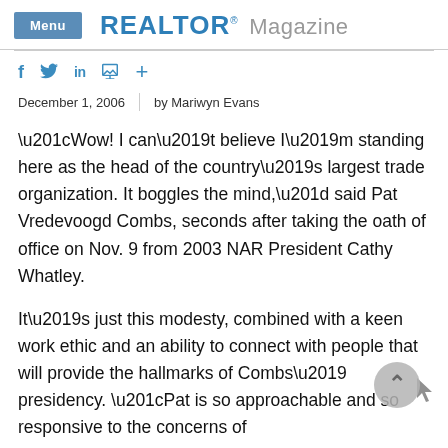Menu | REALTOR® Magazine
f  y  in  🖨  +
December 1, 2006  |  by Mariwyn Evans
“Wow! I can’t believe I’m standing here as the head of the country’s largest trade organization. It boggles the mind,” said Pat Vredevoogd Combs, seconds after taking the oath of office on Nov. 9 from 2003 NAR President Cathy Whatley.
It’s just this modesty, combined with a keen work ethic and an ability to connect with people that will provide the hallmarks of Combs’ presidency. “Pat is so approachable and so responsive to the concerns of